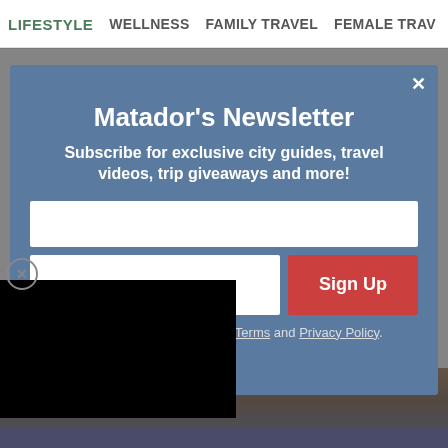LIFESTYLE   WELLNESS   FAMILY TRAVEL   FEMALE TRAV
Matador's Newsletter
Subscribe for exclusive city guides, travel videos, trip giveaways and more!
By Signing Up, I agree to the Terms and Privacy Policy.
[Figure (photo): Scenic outdoor photo with wooden structure and rocky mountain landscape in warm tones]